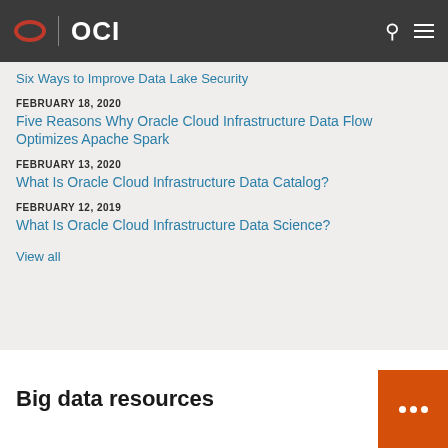OCI
Six Ways to Improve Data Lake Security
FEBRUARY 18, 2020
Five Reasons Why Oracle Cloud Infrastructure Data Flow Optimizes Apache Spark
FEBRUARY 13, 2020
What Is Oracle Cloud Infrastructure Data Catalog?
FEBRUARY 12, 2019
What Is Oracle Cloud Infrastructure Data Science?
View all
Big data resources